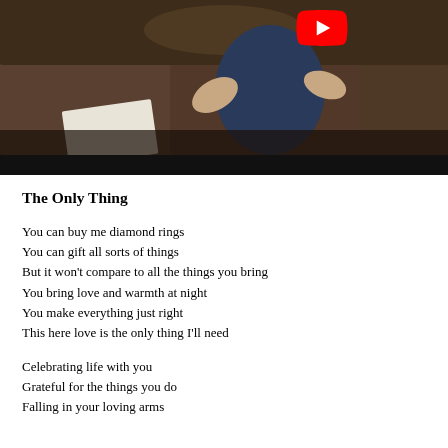[Figure (photo): A YouTube video thumbnail or screenshot showing a person sitting on a dark brown couch/sofa, with what appears to be papers on the couch, and a YouTube play button logo visible in the upper right area.]
The Only Thing
You can buy me diamond rings
You can gift all sorts of things
But it won't compare to all the things you bring
You bring love and warmth at night
You make everything just right
This here love is the only thing I'll need
Celebrating life with you
Grateful for the things you do
Falling in your loving arms